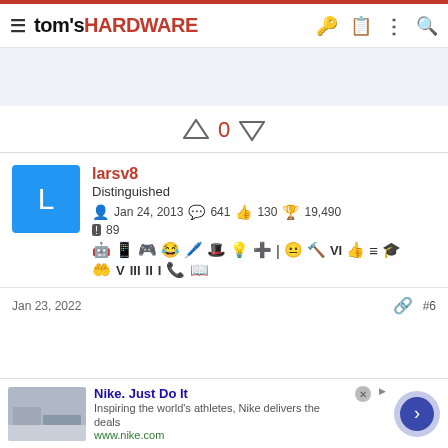tom's HARDWARE
[Figure (screenshot): Gray banner/ad placeholder area]
↑ 0 ↓
larsv8 Distinguished — Jan 24, 2013  641  130  19,490  89
Jan 23, 2022  #6
Nike. Just Do It — Inspiring the world's athletes, Nike delivers the deals — www.nike.com